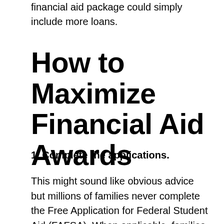financial aid package could simply include more loans.
How to Maximize Financial Aid Awards
1. Complete the applications.
This might sound like obvious advice but millions of families never complete the Free Application for Federal Student Aid (FAFSA). When applicable, families also need to complete the CSS/Financial Aid PROFILE